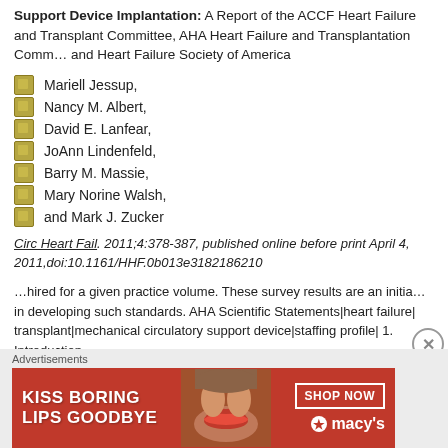Programs That Perform Heart Transplant and Mechanical Circulatory Support Device Implantation: A Report of the ACCF Heart Failure and Transplant Committee, AHA Heart Failure and Transplantation Committee, and Heart Failure Society of America
Mariell Jessup,
Nancy M. Albert,
David E. Lanfear,
JoAnn Lindenfeld,
Barry M. Massie,
Mary Norine Walsh,
and Mark J. Zucker
Circ Heart Fail. 2011;4:378-387, published online before print April 4, 2011,doi:10.1161/HHF.0b013e3182186210
…hired for a given practice volume. These survey results are an initial step in developing such standards. AHA Scientific Statements|heart failure|transplant|mechanical circulatory support device|staffing profile| 1. Introduction…
Advertisements